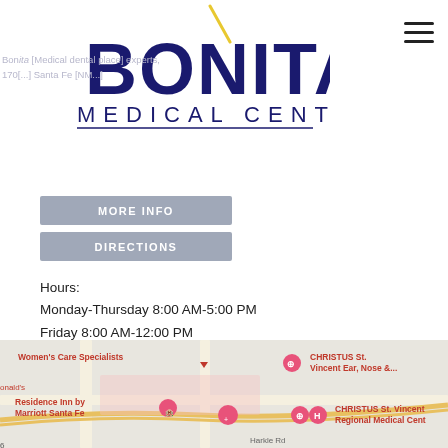[Figure (logo): Bonita Medical Center logo with stylized yellow line accent above text]
Bonita [Medical...] dental [place] experts, 170[...] Santa Fe...
MORE INFO
DIRECTIONS
Hours:
Monday-Thursday 8:00 AM-5:00 PM
Friday 8:00 AM-12:00 PM
Phone:
(505) 988-2121
Email:
general@bonitamedical.com
[Figure (map): Google Maps screenshot showing Bonita Medical Center location near CHRISTUS St. Vincent and Residence Inn by Marriott Santa Fe, with map pins and street labels including Harkle Rd]